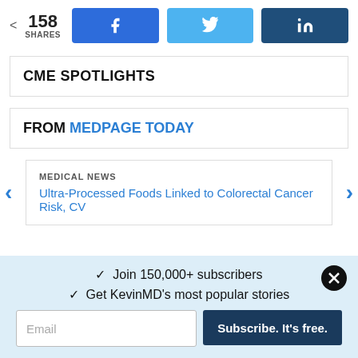< 158 SHARES | Facebook | Twitter | LinkedIn
CME SPOTLIGHTS
FROM MEDPAGE TODAY
MEDICAL NEWS
Ultra-Processed Foods Linked to Colorectal Cancer Risk, CV
✓ Join 150,000+ subscribers
✓ Get KevinMD's most popular stories
Email | Subscribe. It's free.